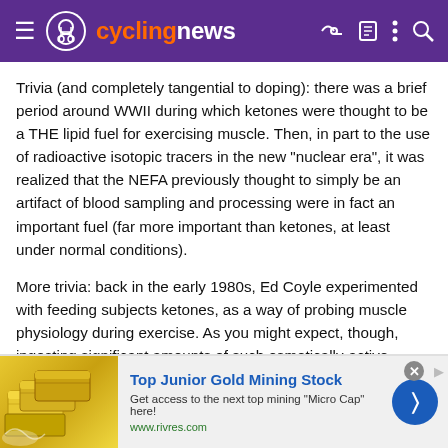cyclingnews
Trivia (and completely tangential to doping): there was a brief period around WWII during which ketones were thought to be a THE lipid fuel for exercising muscle. Then, in part to the use of radioactive isotopic tracers in the new "nuclear era", it was realized that the NEFA previously thought to simply be an artifact of blood sampling and processing were in fact an important fuel (far more important than ketones, at least under normal conditions).
More trivia: back in the early 1980s, Ed Coyle experimented with feeding subjects ketones, as a way of probing muscle physiology during exercise. As you might expect, though, ingesting significant amounts of such osmotically-active substances typically results in diarrhea (as is also true with medium chain FAs/MCTs).
[Figure (infographic): Advertisement banner for Top Junior Gold Mining Stock showing gold bars image, title text, description, and rivres.com URL with a blue arrow button]